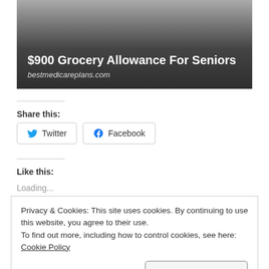[Figure (screenshot): Advertisement image with dark gradient background showing '$900 Grocery Allowance For Seniors' and 'bestmedicareplans.com']
Share this:
[Figure (screenshot): Twitter and Facebook share buttons]
Like this:
Loading...
Privacy & Cookies: This site uses cookies. By continuing to use this website, you agree to their use.
To find out more, including how to control cookies, see here: Cookie Policy
Close and accept